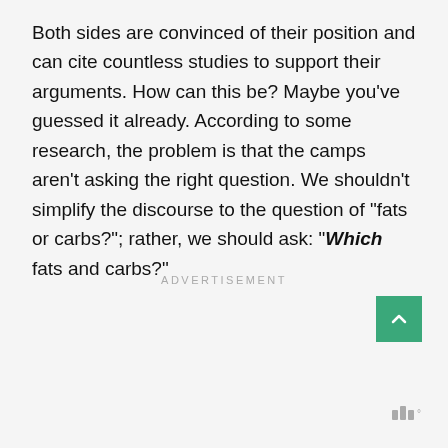Both sides are convinced of their position and can cite countless studies to support their arguments. How can this be? Maybe you've guessed it already. According to some research, the problem is that the camps aren't asking the right question. We shouldn't simplify the discourse to the question of "fats or carbs?"; rather, we should ask: "Which fats and carbs?"
ADVERTISEMENT